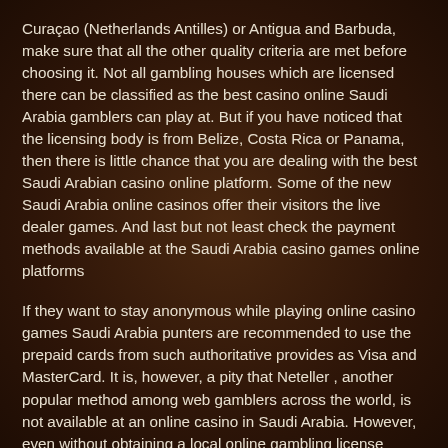Curaçao (Netherlands Antilles) or Antigua and Barbuda, make sure that all the other quality criteria are met before choosing it. Not all gambling houses which are licensed there can be classified as the best casino online Saudi Arabia gamblers can play at. But if you have noticed that the licensing body is from Belize, Costa Rica or Panama, then there is little chance that you are dealing with the best Saudi Arabian casino online platform. Some of the new Saudi Arabia online casinos offer their visitors the live dealer games. And last but not least check the payment methods available at the Saudi Arabia casino games online platforms
If they want to stay anonymous while playing online casino games Saudi Arabia punters are recommended to use the prepaid cards from such authoritative provides as Visa and MasterCard. It is, however, a pity that Neteller , another popular method among web gamblers across the world, is not available at an online casino in Saudi Arabia. However, even without obtaining a local online gambling license Saudi Arabia oriented web platforms still provide high-quality services to their clients